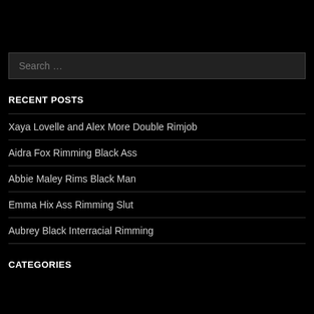Search ...
RECENT POSTS
Xaya Lovelle and Alex More Double Rimjob
Aidra Fox Rimming Black Ass
Abbie Maley Rims Black Man
Emma Hix Ass Rimming Slut
Aubrey Black Interracial Rimming
CATEGORIES